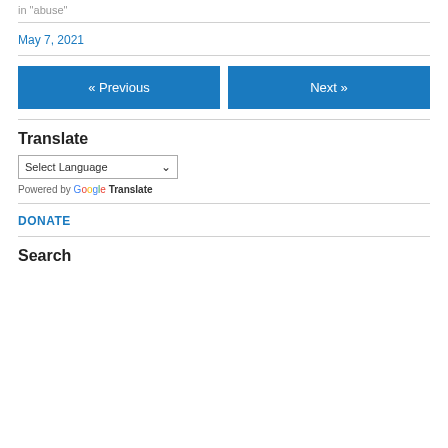in "abuse"
May 7, 2021
« Previous
Next »
Translate
Select Language
Powered by Google Translate
DONATE
Search